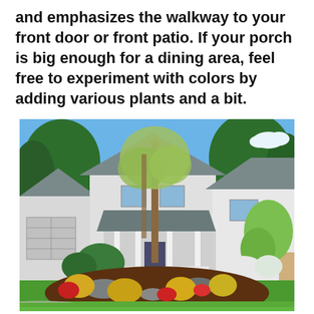and emphasizes the walkway to your front door or front patio. If your porch is big enough for a dining area, feel free to experiment with colors by adding various plants and a bit.
[Figure (photo): A suburban house with a well-maintained front yard featuring colorful flowering shrubs, decorative rocks, mulched garden beds, tall trees, a covered front porch, and a green lawn with a curved driveway.]